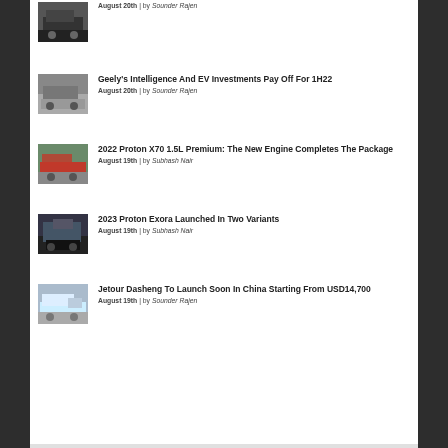August 20th | by Sounder Rajen
Geely's Intelligence And EV Investments Pay Off For 1H22
August 20th | by Sounder Rajen
2022 Proton X70 1.5L Premium: The New Engine Completes The Package
August 19th | by Subhash Nair
2023 Proton Exora Launched In Two Variants
August 19th | by Subhash Nair
Jetour Dasheng To Launch Soon In China Starting From USD14,700
August 19th | by Sounder Rajen